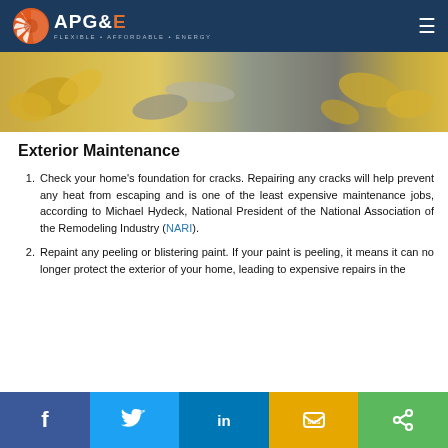APG&E – Flexible • Affordable • Energy
[Figure (photo): Autumn leaves on a surface, hero banner image]
Exterior Maintenance
Check your home's foundation for cracks. Repairing any cracks will help prevent any heat from escaping and is one of the least expensive maintenance jobs, according to Michael Hydeck, National President of the National Association of the Remodeling Industry (NARI).
Repaint any peeling or blistering paint. If your paint is peeling, it means it can no longer protect the exterior of your home, leading to expensive repairs in the
Facebook  Twitter  LinkedIn  SMS  Share